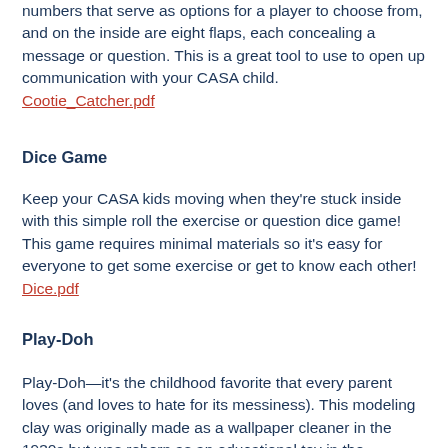numbers that serve as options for a player to choose from, and on the inside are eight flaps, each concealing a message or question. This is a great tool to use to open up communication with your CASA child. Cootie_Catcher.pdf
Dice Game
Keep your CASA kids moving when they're stuck inside with this simple roll the exercise or question dice game! This game requires minimal materials so it's easy for everyone to get some exercise or get to know each other! Dice.pdf
Play-Doh
Play-Doh—it's the childhood favorite that every parent loves (and loves to hate for its messiness). This modeling clay was originally made as a wallpaper cleaner in the 1930s but was reborn as an educational toy in the